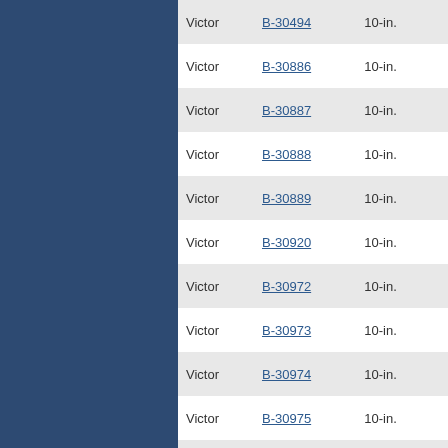| Manufacturer | Model | Size |
| --- | --- | --- |
| Victor | B-30494 | 10-in. |
| Victor | B-30886 | 10-in. |
| Victor | B-30887 | 10-in. |
| Victor | B-30888 | 10-in. |
| Victor | B-30889 | 10-in. |
| Victor | B-30920 | 10-in. |
| Victor | B-30972 | 10-in. |
| Victor | B-30973 | 10-in. |
| Victor | B-30974 | 10-in. |
| Victor | B-30975 | 10-in. |
| Victor | B-30885 | 10-in. |